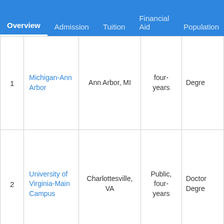Overview | Admission | Tuition | Financial Aid | Population
| # | Name | Location | Type | Degree |
| --- | --- | --- | --- | --- |
| 1 | Michigan-Ann Arbor | Ann Arbor, MI | four-years | Degre... |
| 2 | University of Virginia-Main Campus | Charlottesville, VA | Public, four-years | Doctor Degre... |
|  |  |  | Private (not- |  |
We use cookies to give you the best experience. Read our cookie policy.